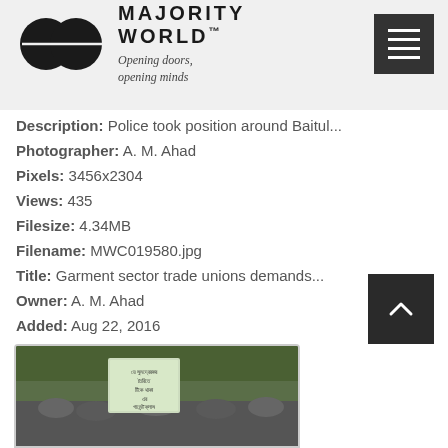MAJORITY WORLD™ — Opening doors, opening minds
Description: Police took position around Baitul...
Photographer: A. M. Ahad
Pixels: 3456x2304
Views: 435
Filesize: 4.34MB
Filename: MWC019580.jpg
Title: Garment sector trade unions demands...
Owner: A. M. Ahad
Added: Aug 22, 2016
[Figure (photo): A crowd of people at a protest/demonstration holding a sign with Bengali text, outdoors with trees in background]